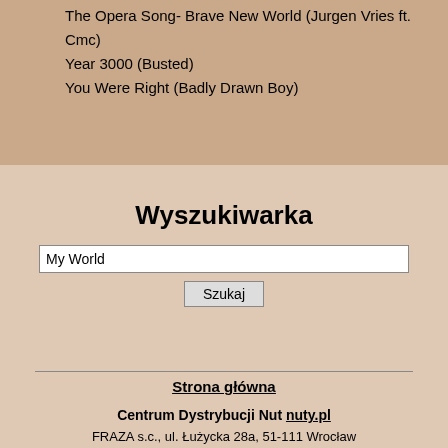| The Opera Song- Brave New World (Jurgen Vries ft. Cmc) |
| Year 3000 (Busted) |
| You Were Right (Badly Drawn Boy) |
Wyszukiwarka
[Figure (screenshot): Search input field with text 'My World' and a 'Szukaj' button below]
Strona główna
Centrum Dystrybucji Nut nuty.pl
FRAZA s.c., ul. Łużycka 28a, 51-111 Wrocław
tel./fax (071) 325-82-11, tel. 372-66-68
Copyright 1997 - 2014 Fraza s.c., Wrocław, Poland